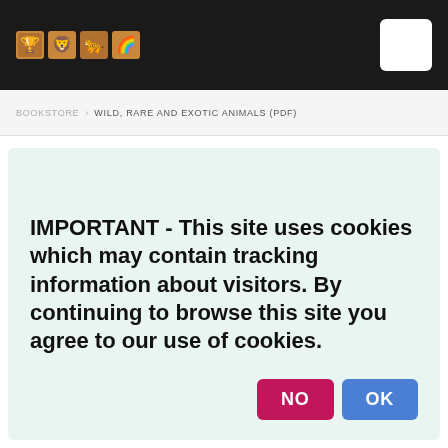[Figure (logo): Dark header bar with emoji/icon logos on the left and a white square button on the right]
BOOKSTORE  WILD, RARE AND EXOTIC ANIMALS (PDF)
IMPORTANT - This site uses cookies which may contain tracking information about visitors. By continuing to browse this site you agree to our use of cookies.